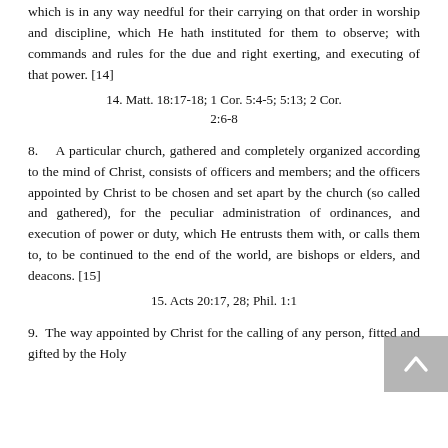which is in any way needful for their carrying on that order in worship and discipline, which He hath instituted for them to observe; with commands and rules for the due and right exerting, and executing of that power. [14]
14. Matt. 18:17-18; 1 Cor. 5:4-5; 5:13; 2 Cor. 2:6-8
8.   A particular church, gathered and completely organized according to the mind of Christ, consists of officers and members; and the officers appointed by Christ to be chosen and set apart by the church (so called and gathered), for the peculiar administration of ordinances, and execution of power or duty, which He entrusts them with, or calls them to, to be continued to the end of the world, are bishops or elders, and deacons. [15]
15. Acts 20:17, 28; Phil. 1:1
9.  The way appointed by Christ for the calling of any person, fitted and gifted by the Holy